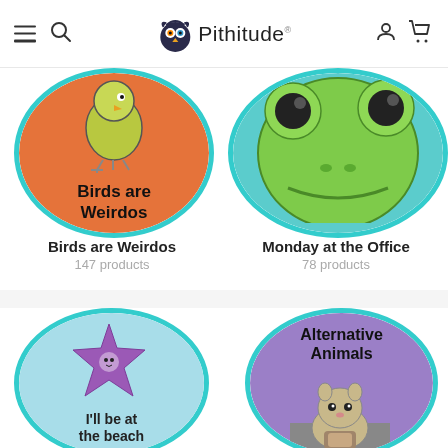Pithitude — navigation header with hamburger menu, search, logo, account, and cart icons
[Figure (illustration): Circle product thumbnail: yellow-green bird on orange background with text 'Birds are Weirdos', teal border. Partially cropped at top.]
[Figure (illustration): Circle product thumbnail: green frog close-up on teal background with text 'Office' partially visible, teal border. Partially cropped at top.]
Birds are Weirdos
147 products
Monday at the Office
78 products
[Figure (illustration): Circle product thumbnail: purple starfish on light blue background with text 'I'll be at the beach', teal border.]
[Figure (illustration): Circle product thumbnail: squirrel/chipmunk drinking coffee on purple/grey background with text 'Alternative Animals', teal border.]